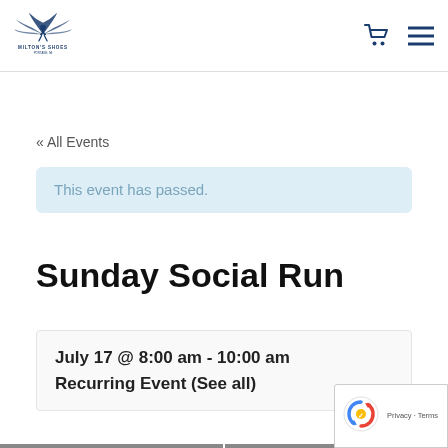Milton's Shoes — navigation header with logo, cart icon, and menu icon
« All Events
This event has passed.
Sunday Social Run
July 17 @ 8:00 am - 10:00 am
Recurring Event (See all)
« Madison Gospel 5K, 10K, Run/Walk & Health Fair
Monday Grou… Run…